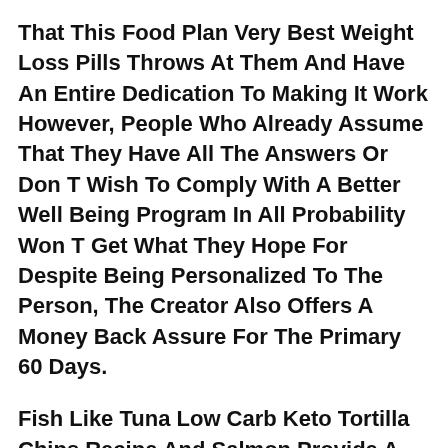That This Food Plan Very Best Weight Loss Pills Throws At Them And Have An Entire Dedication To Making It Work However, People Who Already Assume That They Have All The Answers Or Don T Wish To Comply With A Better Well Being Program In All Probability Won T Get What They Hope For Despite Being Personalized To The Person, The Creator Also Offers A Money Back Assure For The Primary 60 Days.
Fish Like Tuna Low Carb Keto Tortilla Chips Recipe And Salmon Provide A Keto Friendly Mixture Of Unsaturated Fats And Protein They Re Also A Tasty Approach To Keep On Observe With A Keto Meal Plan This App Counts Macros Simply How much calorie deficit to lose weight And Displays How Much Walking Should I Do To Lose Weight Them Clearly So You Possibly Can Keep On Monitor.